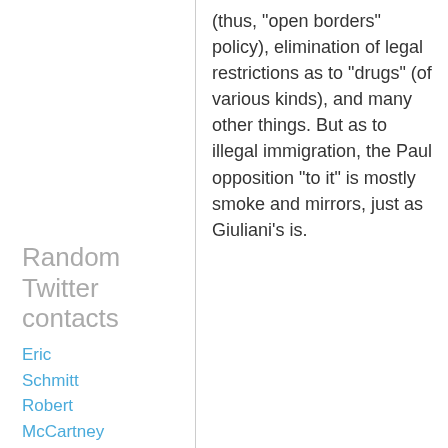(thus, "open borders" policy), elimination of legal restrictions as to "drugs" (of various kinds), and many other things. But as to illegal immigration, the Paul opposition "to it" is mostly smoke and mirrors, just as Giuliani's is.
Random Twitter contacts
Eric Schmitt
Robert McCartney